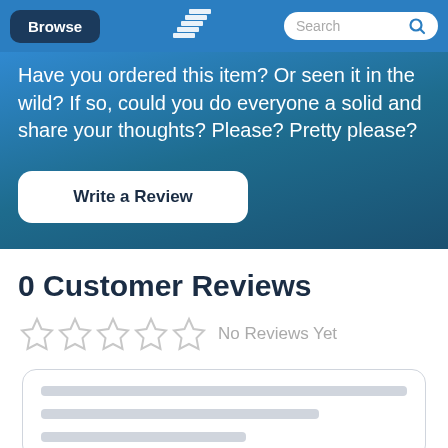Browse | [logo] | Search
Have you ordered this item? Or seen it in the wild? If so, could you do everyone a solid and share your thoughts? Please? Pretty please?
Write a Review
0 Customer Reviews
No Reviews Yet
[Figure (illustration): Placeholder review card with three grey horizontal lines representing empty review content]